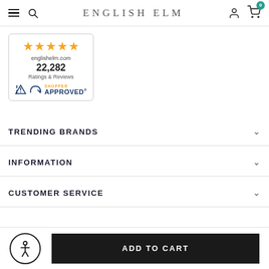ENGLISH ELM
[Figure (logo): Shopper Approved badge: 4.5 stars, englishelm.com, 22,282 Ratings & Reviews, Shopper Approved logo]
TRENDING BRANDS
INFORMATION
CUSTOMER SERVICE
ADD TO CART